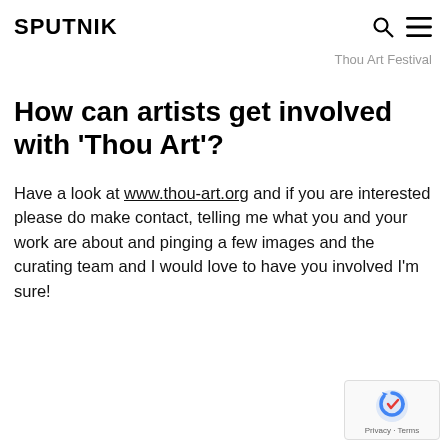SPUTNIK
Thou Art Festival
How can artists get involved with 'Thou Art'?
Have a look at www.thou-art.org and if you are interested please do make contact, telling me what you and your work are about and pinging a few images and the curating team and I would love to have you involved I'm sure!